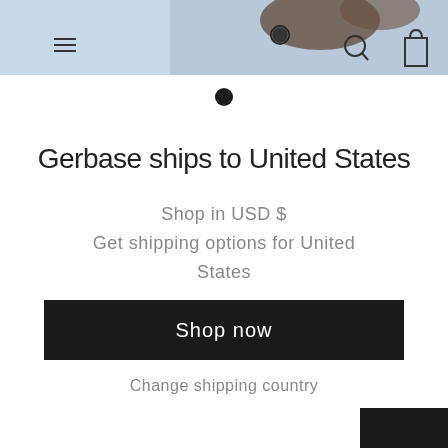[Figure (photo): Partial view of a person in athletic pose against a light background, with navigation icons (menu, search, bag) visible in corners]
[Figure (infographic): A single filled black circle dot indicator]
Gerbase ships to United States
Shop in USD $
Get shipping options for United States
Shop now
Change shipping country